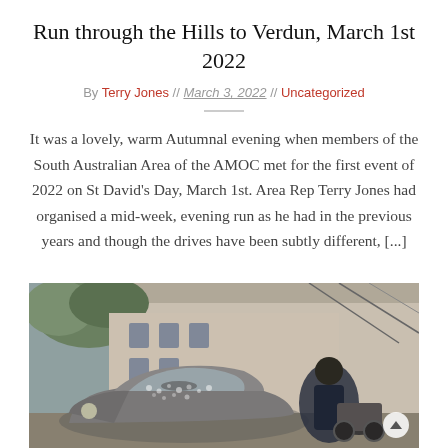Run through the Hills to Verdun, March 1st 2022
By Terry Jones // March 3, 2022 // Uncategorized
It was a lovely, warm Autumnal evening when members of the South Australian Area of the AMOC met for the first event of 2022 on St David's Day, March 1st. Area Rep Terry Jones had organised a mid-week, evening run as he had in the previous years and though the drives have been subtly different, [...]
[Figure (photo): A vintage Aston Martin car (grey/silver) in the foreground with a person working on a motorcycle in the background, taken in an urban setting.]